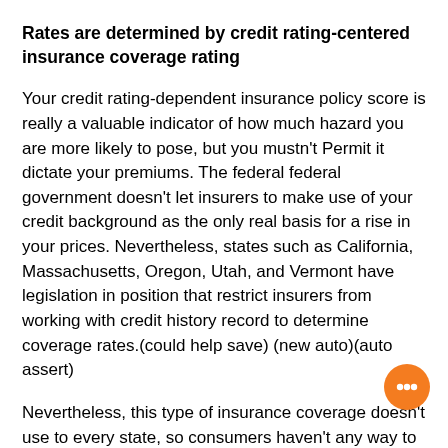Rates are determined by credit rating-centered insurance coverage rating
Your credit rating-dependent insurance policy score is really a valuable indicator of how much hazard you are more likely to pose, but you mustn't Permit it dictate your premiums. The federal federal government doesn't let insurers to make use of your credit background as the only real basis for a rise in your prices. Nevertheless, states such as California, Massachusetts, Oregon, Utah, and Vermont have legislation in position that restrict insurers from working with credit history record to determine coverage rates.(could help save)(new auto)(auto assert)
Nevertheless, this type of insurance coverage doesn't use to every state, so consumers haven't any way to find out if a business is using your rating to make your mind up the amount to charge them. Some states, including California, Hawaii, Massachusetts, and Michigan, do ban credit-based auto insurance. A number of the states also do ban...